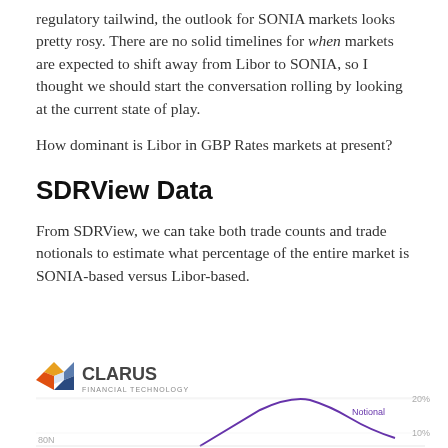regulatory tailwind, the outlook for SONIA markets looks pretty rosy. There are no solid timelines for when markets are expected to shift away from Libor to SONIA, so I thought we should start the conversation rolling by looking at the current state of play.
How dominant is Libor in GBP Rates markets at present?
SDRView Data
From SDRView, we can take both trade counts and trade notionals to estimate what percentage of the entire market is SONIA-based versus Libor-based.
[Figure (continuous-plot): Clarus Financial Technology logo followed by a partial line chart showing Notional data over time, with y-axis labels 20% and 10%, x-axis label 80N visible at left edge. A purple curve labeled 'Notional' is visible rising to a peak then descending.]